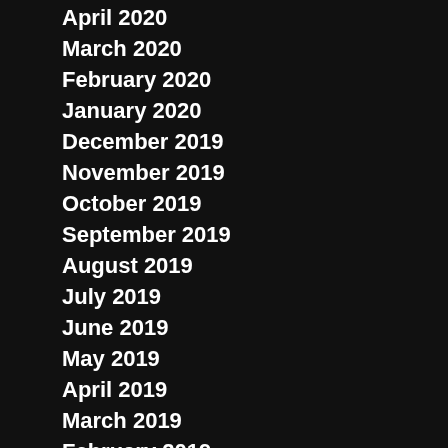April 2020
March 2020
February 2020
January 2020
December 2019
November 2019
October 2019
September 2019
August 2019
July 2019
June 2019
May 2019
April 2019
March 2019
February 2019
January 2019
December 2018